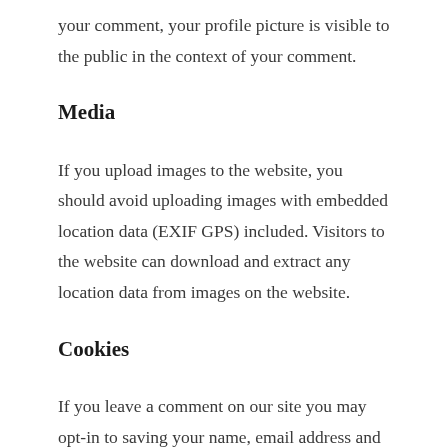your comment, your profile picture is visible to the public in the context of your comment.
Media
If you upload images to the website, you should avoid uploading images with embedded location data (EXIF GPS) included. Visitors to the website can download and extract any location data from images on the website.
Cookies
If you leave a comment on our site you may opt-in to saving your name, email address and website in cookies. These are for your convenience so that you do not have to fill in your details again when you